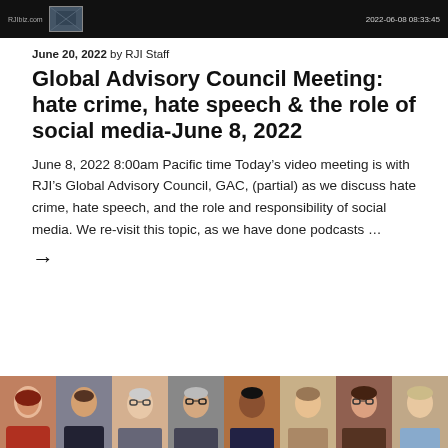[Figure (screenshot): Dark header bar showing a video call interface thumbnail and timestamp 2022-06-08 08:33:45]
June 20, 2022 by RJI Staff
Global Advisory Council Meeting: hate crime, hate speech & the role of social media-June 8, 2022
June 8, 2022 8:00am Pacific time Today’s video meeting is with RJI’s Global Advisory Council, GAC, (partial) as we discuss hate crime, hate speech, and the role and responsibility of social media. We re-visit this topic, as we have done podcasts …
→
[Figure (photo): Row of eight headshot photos of people (council members)]